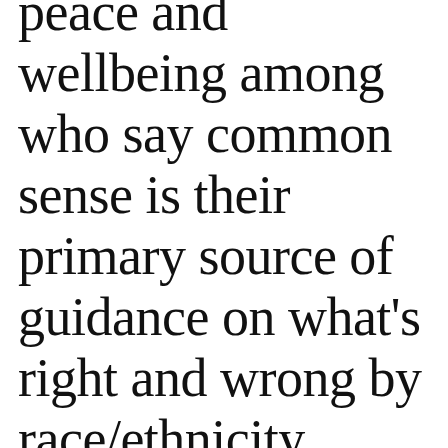peace and wellbeing among who say common sense is their primary source of guidance on what's right and wrong by race/ethnicity